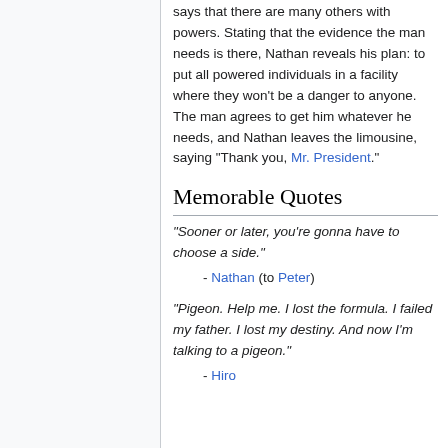says that there are many others with powers. Stating that the evidence the man needs is there, Nathan reveals his plan: to put all powered individuals in a facility where they won't be a danger to anyone. The man agrees to get him whatever he needs, and Nathan leaves the limousine, saying "Thank you, Mr. President."
Memorable Quotes
"Sooner or later, you're gonna have to choose a side."
- Nathan (to Peter)
"Pigeon. Help me. I lost the formula. I failed my father. I lost my destiny. And now I'm talking to a pigeon."
- Hiro